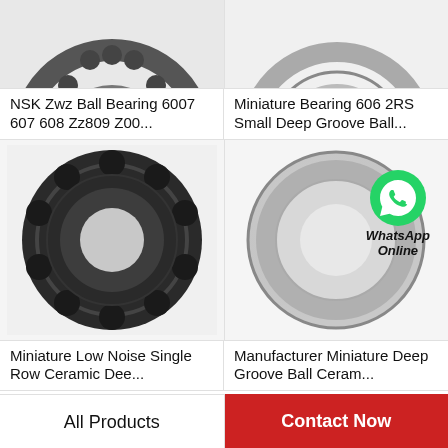[Figure (photo): Partial top view of NSK ball bearing, black/gray, cropped]
[Figure (photo): Partial top view of miniature bearing 606 2RS, silver/black, cropped]
NSK Zwz Ball Bearing 6007 607 608 Zz809 Z00...
Miniature Bearing 606 2RS Small Deep Groove Ball...
[Figure (photo): Full ceramic deep groove ball bearing, black with balls visible, front view]
[Figure (photo): Silver deep groove ball bearing with WhatsApp Online badge overlay]
Miniature Low Noise Single Row Ceramic Dee...
Manufacturer Miniature Deep Groove Ball Ceram...
All Products
Contact Now